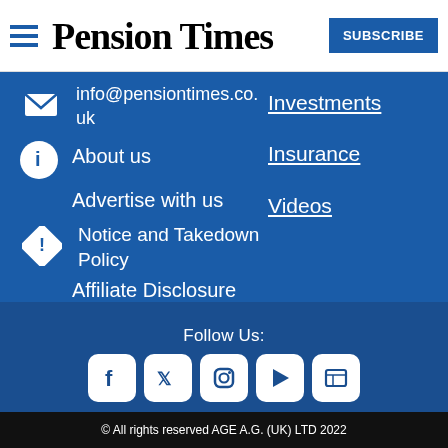Pension Times | SUBSCRIBE
info@pensiontimes.co.uk
About us
Advertise with us
Notice and Takedown Policy
Affiliate Disclosure
Investments
Insurance
Videos
Follow Us:
Terms of Use | Privacy Policy
© All rights reserved AGE A.G. (UK) LTD 2022